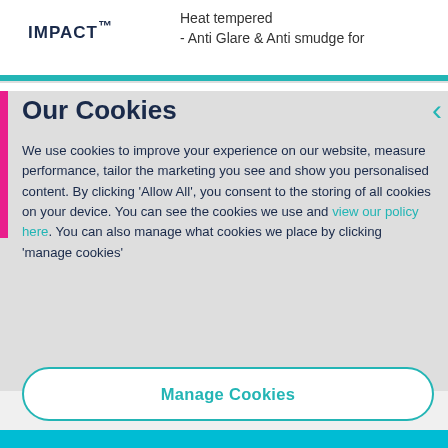IMPACT™  |  Heat tempered - Anti Glare & Anti smudge for
Our Cookies
We use cookies to improve your experience on our website, measure performance, tailor the marketing you see and show you personalised content. By clicking 'Allow All', you consent to the storing of all cookies on your device. You can see the cookies we use and view our policy here. You can also manage what cookies we place by clicking 'manage cookies'
Manage Cookies
Allow All